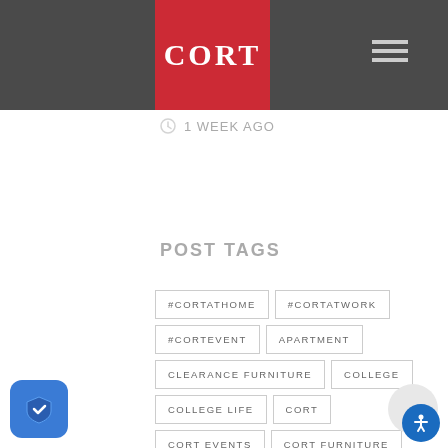CORT
1 WEEK AGO
POST TAGS
#CORTATHOME
#CORTATWORK
#CORTEVENT
APARTMENT
CLEARANCE FURNITURE
COLLEGE
COLLEGE LIFE
CORT
CORT EVENTS
CORT FURNITURE
CORT FURNITURE RENTAL
CORT IN COMMUNITIES